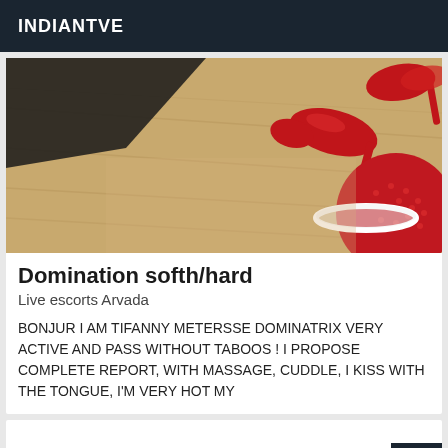INDIANTVE
[Figure (photo): Close-up photo of a wooden floor with a red high-heel shoe/boot visible, and a red textured object (possibly a bag or cushion) in the lower right corner. Dark background upper left.]
Domination softh/hard
Live escorts Arvada
BONJUR I AM TIFANNY METERSSE DOMINATRIX VERY ACTIVE AND PASS WITHOUT TABOOS ! I PROPOSE COMPLETE REPORT, WITH MASSAGE, CUDDLE, I KISS WITH THE TONGUE, I'M VERY HOT MY
VIP